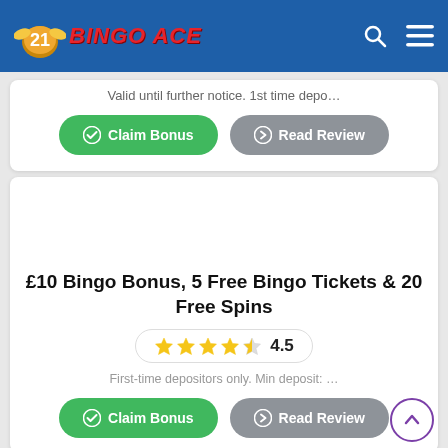Bingo Ace
Valid until further notice. 1st time depo…
Claim Bonus | Read Review
£10 Bingo Bonus, 5 Free Bingo Tickets & 20 Free Spins
4.5
First-time depositors only. Min deposit: …
Claim Bonus | Read Review